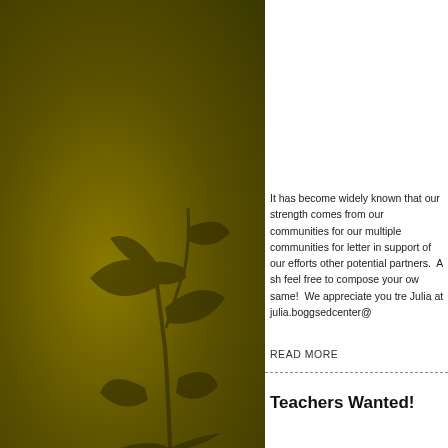[Figure (illustration): Olive/golden textured background panel on the left side with a dark plant silhouette (leaves and stems) in the lower portion]
It has become widely known that our strength comes from our communities for our multiple communities for letter in support of our efforts other potential partners.  A sh feel free to compose your ow same!  We appreciate you tre Julia at julia.boggsedcenter@
READ MORE
Teachers Wanted!